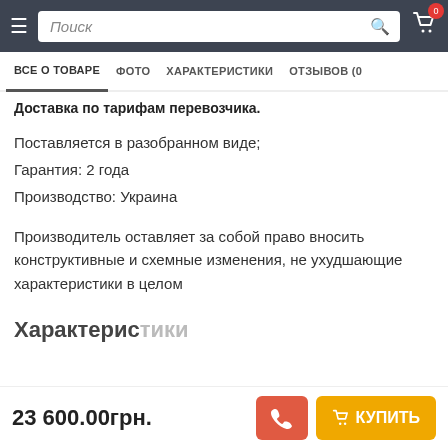Поиск | ВСЕ О ТОВАРЕ | ФОТО | ХАРАКТЕРИСТИКИ | ОТЗЫВОВ (0)
Доставка по тарифам перевозчика.
Поставляется в разобранном виде;
Гарантия: 2 года
Производство: Украина
Производитель оставляет за собой право вносить конструктивные и схемные изменения, не ухудшающие характеристики в целом
Характеристики
23 600.00грн.  КУПИТЬ